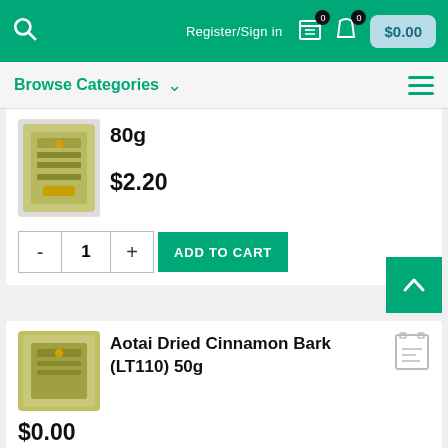Register/Sign in  $0.00
Browse Categories
80g
$2.20
- 1 + ADD TO CART
Aotai Dried Cinnamon Bark (LT110) 50g
$0.00